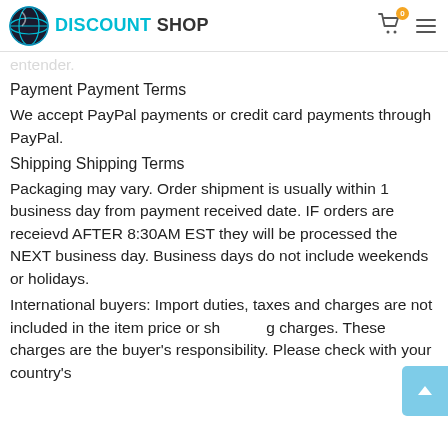DISCOUNT SHOP
entender.
Payment Payment Terms
We accept PayPal payments or credit card payments through PayPal.
Shipping Shipping Terms
Packaging may vary. Order shipment is usually within 1 business day from payment received date. IF orders are receievd AFTER 8:30AM EST they will be processed the NEXT business day. Business days do not include weekends or holidays.
International buyers:  Import duties, taxes and charges are not included in the item price or shipping charges. These charges are the buyer's responsibility. Please check with your country's